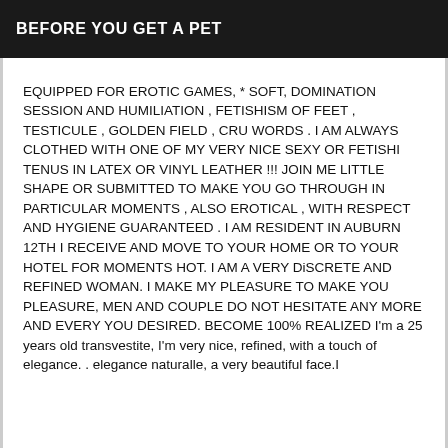BEFORE YOU GET A PET
EQUIPPED FOR EROTIC GAMES, * SOFT, DOMINATION SESSION AND HUMILIATION , FETISHISM OF FEET , TESTICULE , GOLDEN FIELD , CRU WORDS . I AM ALWAYS CLOTHED WITH ONE OF MY VERY NICE SEXY OR FETISHI TENUS IN LATEX OR VINYL LEATHER !!! JOIN ME LITTLE SHAPE OR SUBMITTED TO MAKE YOU GO THROUGH IN PARTICULAR MOMENTS , ALSO EROTICAL , WITH RESPECT AND HYGIENE GUARANTEED . I AM RESIDENT IN AUBURN 12TH I RECEIVE AND MOVE TO YOUR HOME OR TO YOUR HOTEL FOR MOMENTS HOT. I AM A VERY DiSCRETE AND REFINED WOMAN. I MAKE MY PLEASURE TO MAKE YOU PLEASURE, MEN AND COUPLE DO NOT HESITATE ANY MORE AND EVERY YOU DESIRED. BECOME 100% REALIZED I'm a 25 years old transvestite, I'm very nice, refined, with a touch of elegance. . elegance naturalle, a very beautiful face.I